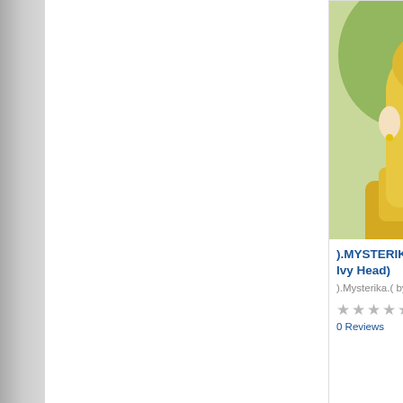[Figure (screenshot): Second Life Marketplace product listing page screenshot showing a product card with an anime-style avatar wearing a yellow outfit with blonde hair, product title, author, star rating, and website footer navigation links.]
).MYSTERIKA.( Usag... Ivy Head)
).Mysterika.( by Gabriella...
★★★★★
0 Reviews
Affiliate Program   Second Life Marketplace   Second Life Blogs
SL Terms and Conditions   LL T...